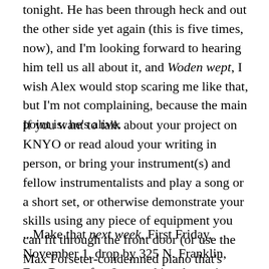tonight. He has been through heck and out the other side yet again (this is five times, now), and I'm looking forward to hearing him tell us all about it, and Woden wept, I wish Alex would stop scaring me like that, but I'm not complaining, because the main point is: he's alive.
If you want to talk about your project on KNYO or read aloud your writing in person, or bring your instrument(s) and fellow instrumentalists and play a song or a short set, or otherwise demonstrate your skills using any piece of equipment you can fit through the front door (or use the Max Forseter-condemned piano that's already inside somehow and can't fit to get out)...
...Make that next week, First Friday, November 1, drop by 325 N. Franklin, Fort Bragg after 9pm and just barge in. Head for the lighted room at the back and get my